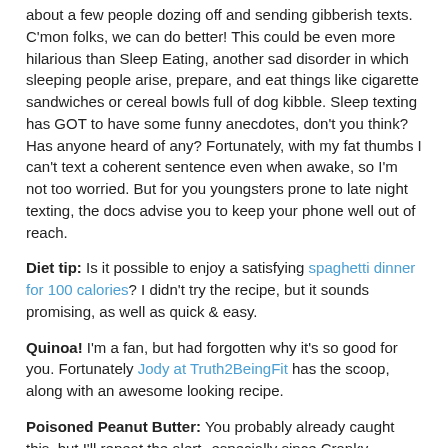about a few people dozing off and sending gibberish texts. C'mon folks, we can do better!  This could be even more hilarious than Sleep Eating, another sad disorder in which sleeping people arise, prepare, and eat things like cigarette sandwiches or cereal bowls full of dog kibble.  Sleep texting has GOT to have some funny anecdotes, don't you think? Has anyone heard of any? Fortunately, with my fat thumbs I can't text a coherent sentence even when awake, so I'm not too worried. But for you youngsters prone to late night texting, the docs advise you to keep your phone well out of reach.
Diet tip: Is it possible to enjoy a satisfying spaghetti dinner for 100 calories? I didn't try the recipe, but it sounds promising, as well as quick & easy.
Quinoa!  I'm a fan, but had forgotten why it's so good for you.  Fortunately Jody at Truth2BeingFit has the scoop, along with an awesome looking recipe.
Poisoned Peanut Butter: You probably already caught this, but I'll repeat the alert--especially since Cranky Fitness.